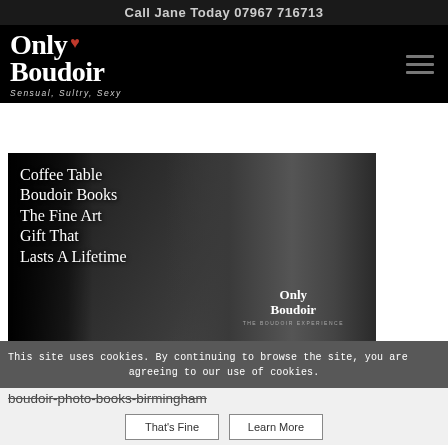Call Jane Today 07967 716713
[Figure (logo): Only Boudoir logo with heart symbol and tagline 'Sensual, Sultry, Sexy' on black background]
[Figure (photo): Black and white boudoir photo with text overlay: 'Coffee Table Boudoir Books The Fine Art Gift That Lasts A Lifetime' and Only Boudoir logo]
This site uses cookies. By continuing to browse the site, you are agreeing to our use of cookies.
boudoir-photo-books-birmingham
That's Fine
Learn More